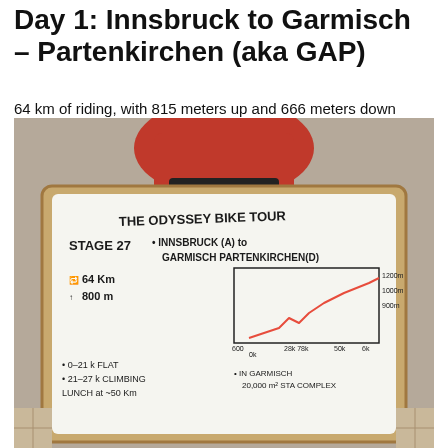Day 1: Innsbruck to Garmisch – Partenkirchen (aka GAP)
64 km of riding, with 815 meters up and 666 meters down
[Figure (photo): Photo of a whiteboard sign reading 'THE ODYSSEY BIKE TOUR STAGE 27 • INNSBRUCK (A) to GARMISCH PARTENKIRCHEN (D)' with a route elevation profile chart drawn in red, showing distance markers (0k, 28k, 78k, 50k, 6k) and elevation markers (600, 1200, 1000, 900), and notes: 64Km, 800m, 0-21k flat, 21-27k climbing, LUNCH at ~50Km, IN GARMISCH 20,000m² STA COMPLEX. A person in a red jacket is visible behind the sign.]